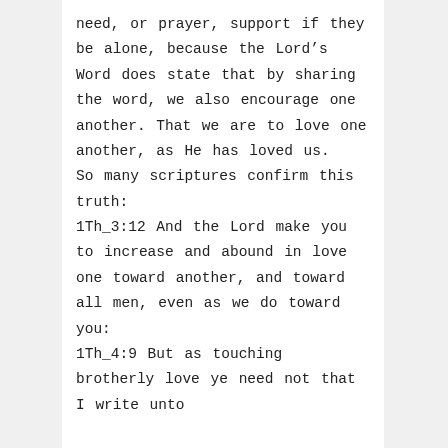need, or prayer, support if they be alone, because the Lord's Word does state that by sharing the word, we also encourage one another. That we are to love one another, as He has loved us.
So many scriptures confirm this truth:
1Th_3:12 And the Lord make you to increase and abound in love one toward another, and toward all men, even as we do toward you:
1Th_4:9 But as touching brotherly love ye need not that I write unto